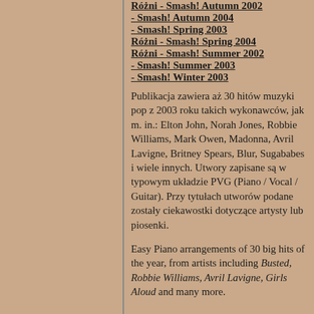Różni - Smash! Autumn 2002
- Smash! Autumn 2004
- Smash! Spring 2003
Różni - Smash! Spring 2004
Różni - Smash! Summer 2002
- Smash! Summer 2003
- Smash! Winter 2003
Publikacja zawiera aż 30 hitów muzyki pop z 2003 roku takich wykonawców, jak m. in.: Elton John, Norah Jones, Robbie Williams, Mark Owen, Madonna, Avril Lavigne, Britney Spears, Blur, Sugababes i wiele innych. Utwory zapisane są w typowym układzie PVG (Piano / Vocal / Guitar). Przy tytułach utworów podane zostały ciekawostki dotyczące artysty lub piosenki.
Easy Piano arrangements of 30 big hits of the year, from artists including Busted, Robbie Williams, Avril Lavigne, Girls Aloud and many more.